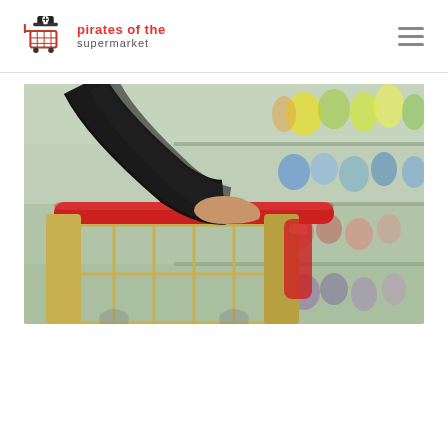[Figure (logo): Pirates of the Supermarket logo with pirate shopping cart icon and text]
[Figure (photo): A person in a black jacket pushing a red-handled supermarket shopping cart in a store aisle with blurred product shelves in background]